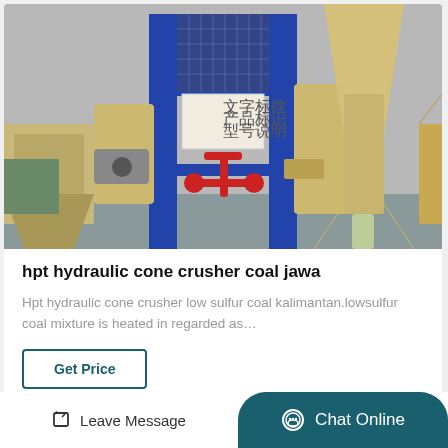[Figure (photo): Industrial coal cone crusher machine with blue steel frame, red hydraulic components, beige/cream colored hopper and cyclone separator on right side, photographed indoors on gray floor]
hpt hydraulic cone crusher coal jawa
Hpt hydraulic cone crusher low sulfur coal kalimantan.lowsulfur coal mixture is heated in regarded as…
Get Price
Leave Message
Chat Online